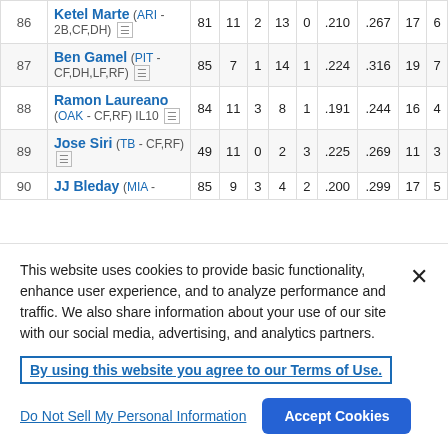| # | Player | AB | R | HR | RBI | SB | AVG | OBP | SO | BB |
| --- | --- | --- | --- | --- | --- | --- | --- | --- | --- | --- |
| 86 | Ketel Marte (ARI - 2B,CF,DH) | 81 | 11 | 2 | 13 | 0 | .210 | .267 | 17 | 6 |
| 87 | Ben Gamel (PIT - CF,DH,LF,RF) | 85 | 7 | 1 | 14 | 1 | .224 | .316 | 19 | 7 |
| 88 | Ramon Laureano (OAK - CF,RF) IL10 | 84 | 11 | 3 | 8 | 1 | .191 | .244 | 16 | 4 |
| 89 | Jose Siri (TB - CF,RF) | 49 | 11 | 0 | 2 | 3 | .225 | .269 | 11 | 3 |
| 90 | JJ Bleday (MIA - | 85 | 9 | 3 | 4 | 2 | .200 | .299 | 17 | 5 |
This website uses cookies to provide basic functionality, enhance user experience, and to analyze performance and traffic. We also share information about your use of our site with our social media, advertising, and analytics partners.
By using this website you agree to our Terms of Use.
Do Not Sell My Personal Information
Accept Cookies